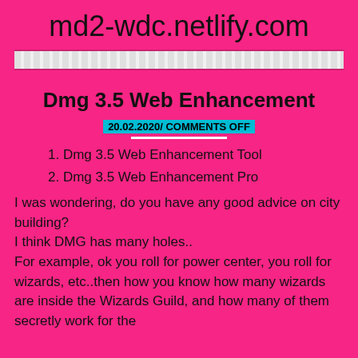md2-wdc.netlify.com
[Figure (other): Decorative navigation bar with dotted/checkered pattern]
Dmg 3.5 Web Enhancement
20.02.2020/ COMMENTS OFF
1. Dmg 3.5 Web Enhancement Tool
2. Dmg 3.5 Web Enhancement Pro
I was wondering, do you have any good advice on city building?
I think DMG has many holes..
For example, ok you roll for power center, you roll for wizards, etc..then how you know how many wizards are inside the Wizards Guild, and how many of them secretly work for the